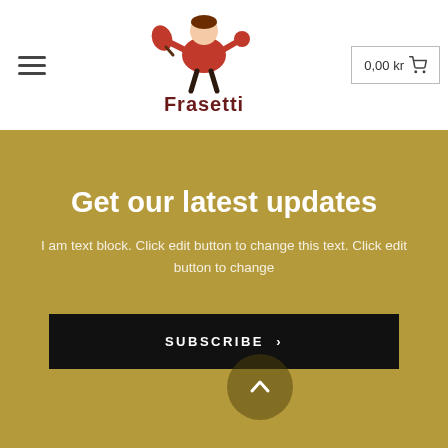[Figure (logo): Frasetti logo with cartoon character playing ping pong, red and dark brown colors, text 'Frasetti' below character]
0,00 kr 🛒
Get our latest updates
I am text block. Click edit button to change this text. Click edit button to change
SUBSCRIBE >